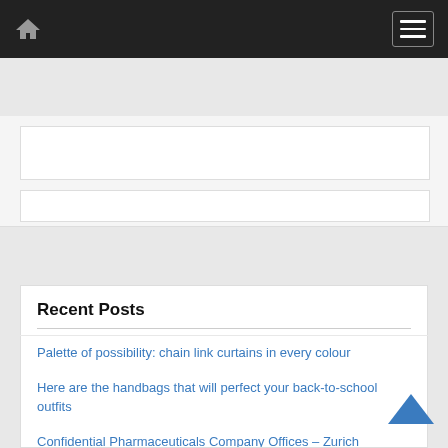Navigation bar with home icon and menu button
[Figure (screenshot): White banner/advertisement area with two white rectangular boxes]
Search [input field] [Search button]
Recent Posts
Palette of possibility: chain link curtains in every colour
Here are the handbags that will perfect your back-to-school outfits
Confidential Pharmaceuticals Company Offices – Zurich
Bulgari Gets Seriously Artistic With Their Geneva Watch Days 2022 Releases
Chanel In Sierra La Villa Stands Out Due To Its Sculptural